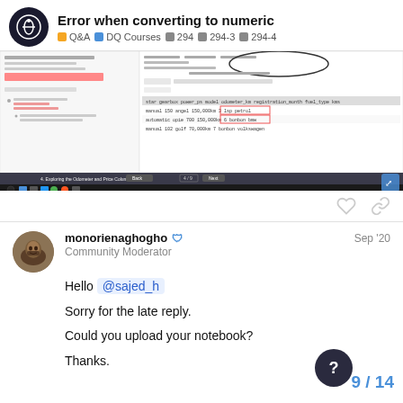Error when converting to numeric | Q&A | DQ Courses | 294 | 294-3 | 294-4
[Figure (screenshot): Screenshot of a Jupyter notebook and data table showing code for odometer_km column with dtype int64, and a DataFrame table with columns including odometer_km with values like 150,000km circled.]
Hello @sajed_h

Sorry for the late reply.

Could you upload your notebook?

Thanks.
9 / 14